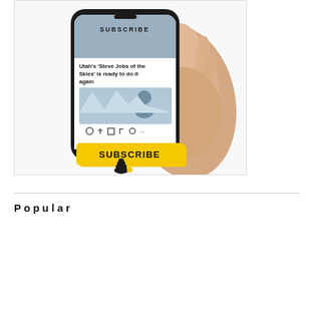[Figure (illustration): Advertisement showing a hand holding a smartphone displaying a news article headline 'Utah's Steve Jobs of the Skies is ready to do it again' with a Subscribe button on a yellow background, and a beehive logo at the bottom.]
Popular